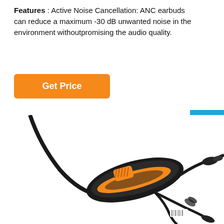Features : Active Noise Cancellation: ANC earbuds can reduce a maximum -30 dB unwanted noise in the environment withoutpromising the audio quality.
[Figure (other): Orange 'Get Price' button on white background]
[Figure (other): Blue 'Free Chat' widget with chat bubble icon on right edge]
[Figure (photo): Close-up photo of a black and orange inline remote/control module for earbuds with cables attached]